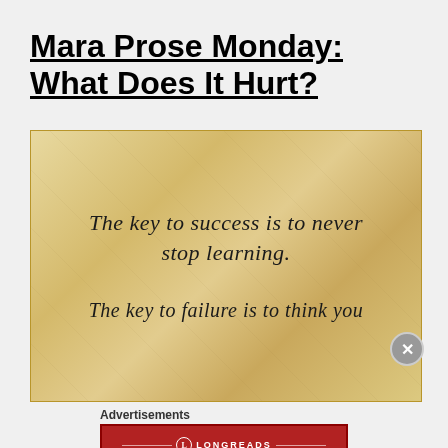Mara Prose Monday: What Does It Hurt?
[Figure (illustration): Aged parchment background with calligraphic text: 'The key to success is to never stop learning. The key to failure is to think you']
Advertisements
[Figure (logo): Longreads advertisement banner in red: 'The best stories on the web — ours, and everyone else's.']